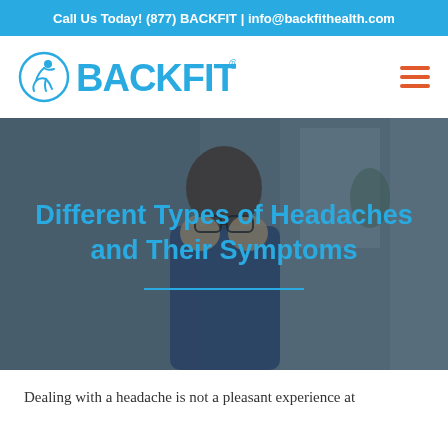Call Us Today! (877) BACKFIT | info@backfithealth.com
[Figure (logo): BackFit Health logo with circular icon and BACKFIT® text in blue]
[Figure (photo): Man with glasses holding his head in his hands, sitting at a desk, black-and-white/muted photo with blue overlay]
Different Types of Headaches and Their Symptoms
Dealing with a headache is not a pleasant experience at